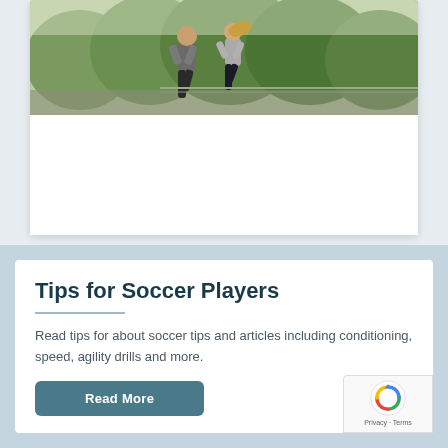[Figure (photo): Two people jogging outdoors with trees and greenery in the background]
Tips for Soccer Players
Read tips for about soccer tips and articles including conditioning, speed, agility drills and more.
Read More